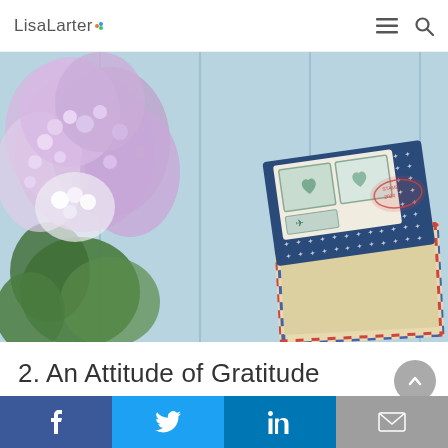LisaLarter
[Figure (photo): Photo of purple/white lilac flowers on the left and an open airmail envelope with a decorative card on a light blue wooden background]
2. An Attitude of Gratitude